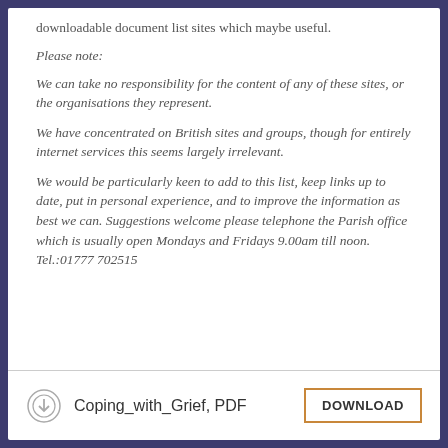downloadable document list sites which maybe useful.
Please note:
We can take no responsibility for the content of any of these sites, or the organisations they represent.
We have concentrated on British sites and groups, though for entirely internet services this seems largely irrelevant.
We would be particularly keen to add to this list, keep links up to date, put in personal experience, and to improve the information as best we can. Suggestions welcome please telephone the Parish office which is usually open Mondays and Fridays 9.00am till noon. Tel.:01777 702515
Coping_with_Grief, PDF   DOWNLOAD